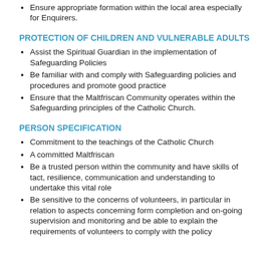Ensure appropriate formation within the local area especially for Enquirers.
PROTECTION OF CHILDREN AND VULNERABLE ADULTS
Assist the Spiritual Guardian in the implementation of Safeguarding Policies
Be familiar with and comply with Safeguarding policies and procedures and promote good practice
Ensure that the Maltfriscan Community operates within the Safeguarding principles of the Catholic Church.
PERSON SPECIFICATION
Commitment to the teachings of the Catholic Church
A committed Maltfriscan
Be a trusted person within the community and have skills of tact, resilience, communication and understanding to undertake this vital role
Be sensitive to the concerns of volunteers, in particular in relation to aspects concerning form completion and on-going supervision and monitoring and be able to explain the requirements of volunteers to comply with the policy